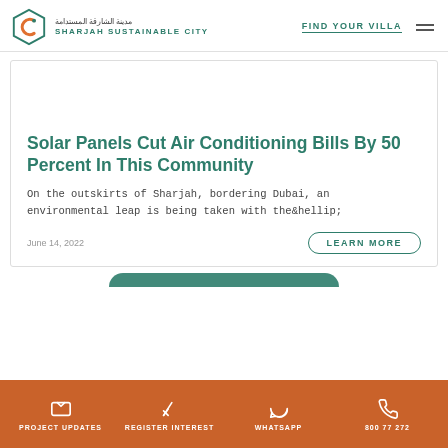SHARJAH SUSTAINABLE CITY | FIND YOUR VILLA
Solar Panels Cut Air Conditioning Bills By 50 Percent In This Community
On the outskirts of Sharjah, bordering Dubai, an environmental leap is being taken with the…
June 14, 2022
PROJECT UPDATES | REGISTER INTEREST | WHATSAPP | 800 77 272